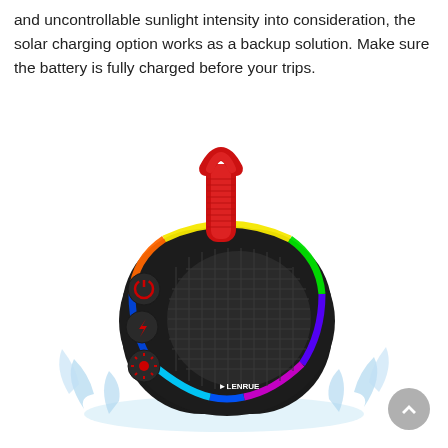and uncontrollable sunlight intensity into consideration, the solar charging option works as a backup solution. Make sure the battery is fully charged before your trips.
[Figure (photo): A black LENRUE Bluetooth speaker with RGB rainbow LED ring light, a red fabric carry strap on top, red control buttons on the left side (power, Bluetooth, light), a mesh grille front face, and water splashing around the base. The LENRUE logo is visible on the lower right of the speaker body.]